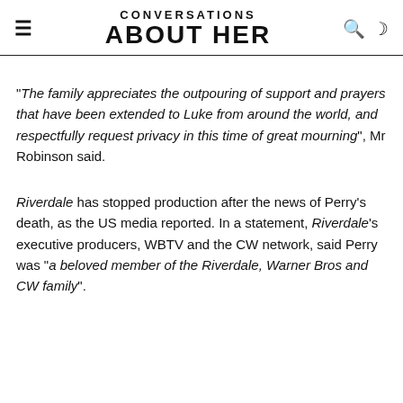CONVERSATIONS ABOUT HER
"The family appreciates the outpouring of support and prayers that have been extended to Luke from around the world, and respectfully request privacy in this time of great mourning", Mr Robinson said.
Riverdale has stopped production after the news of Perry's death, as the US media reported. In a statement, Riverdale's executive producers, WBTV and the CW network, said Perry was "a beloved member of the Riverdale, Warner Bros and CW family".